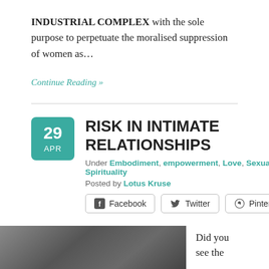INDUSTRIAL COMPLEX with the sole purpose to perpetuate the moralised suppression of women as…
Continue Reading »
RISK IN INTIMATE RELATIONSHIPS
Under Embodiment, empowerment, Love, Sexuality, Spirituality
Posted by Lotus Kruse
[Figure (screenshot): Social sharing buttons for Facebook, Twitter, and Pinterest]
[Figure (photo): Grayscale photo partially visible at bottom of page, appears to show a person]
Did you see the